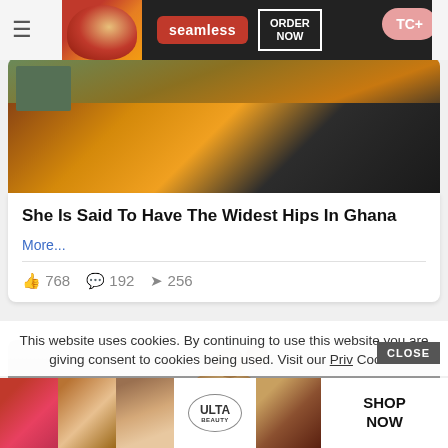[Figure (screenshot): Seamless food delivery advertisement banner with pizza image, seamless logo in red, ORDER NOW button in white box, and TC+ button on right]
[Figure (photo): Partial photo of a person wearing colorful tie-dye top, outdoor setting]
She Is Said To Have The Widest Hips In Ghana
More...
768  192  256
[Figure (photo): Back of a person's head showing two bun hairstyles with white flakes/glitter]
This website uses cookies. By continuing to use this website you are giving consent to cookies being used. Visit our Priv Cookie
[Figure (screenshot): Ulta Beauty advertisement banner with makeup photos and SHOP NOW text]